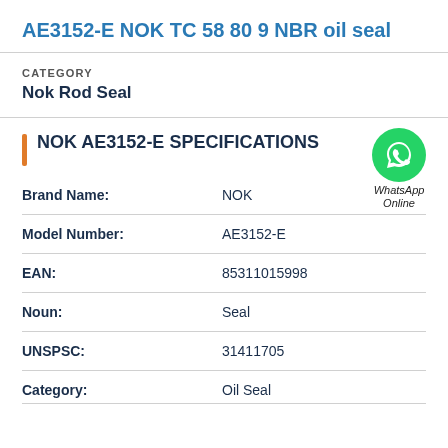AE3152-E NOK TC 58 80 9 NBR oil seal
CATEGORY
Nok Rod Seal
NOK AE3152-E SPECIFICATIONS
[Figure (logo): WhatsApp Online green phone bubble icon with text 'WhatsApp Online']
| Field | Value |
| --- | --- |
| Brand Name: | NOK |
| Model Number: | AE3152-E |
| EAN: | 85311015998 |
| Noun: | Seal |
| UNSPSC: | 31411705 |
| Category: | Oil Seal |